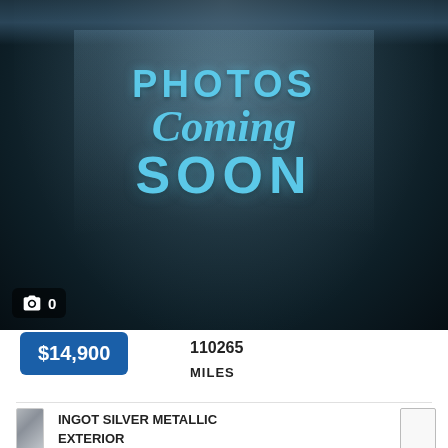[Figure (photo): Photos Coming Soon placeholder image with blue 3D text on dark studio background with spotlight effect. Camera icon badge showing 0 photos.]
$14,900
110265
MILES
INGOT SILVER METALLIC
EXTERIOR